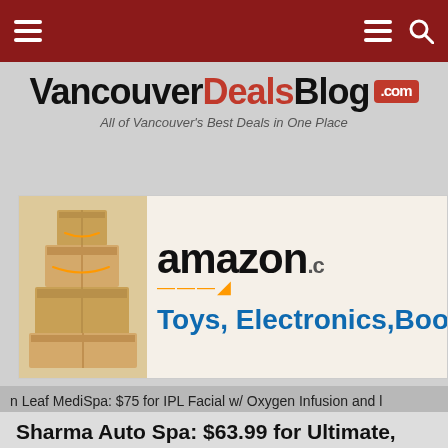VancouverDealsBlog .com — All of Vancouver's Best Deals in One Place
[Figure (screenshot): Amazon banner ad showing stacked boxes on left and text 'amazon.c' with 'Toys, Electronics, Boo' on right]
n Leaf MediSpa: $75 for IPL Facial w/ Oxygen Infusion and l
Sharma Auto Spa: $63.99 for Ultimate, $96.39 for Platinum Super, or $152 for Luxury Interior and Exterior Detail (Up to 35% Off)